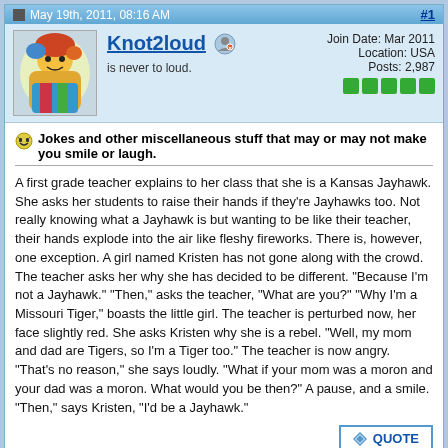May 19th, 2011, 08:16 AM  #1
Knot2loud  is never to loud.
Join Date: Mar 2011  Location: USA  Posts: 2,987
Jokes and other miscellaneous stuff that may or may not make you smile or laugh.
A first grade teacher explains to her class that she is a Kansas Jayhawk. She asks her students to raise their hands if they're Jayhawks too. Not really knowing what a Jayhawk is but wanting to be like their teacher, their hands explode into the air like fleshy fireworks. There is, however, one exception. A girl named Kristen has not gone along with the crowd. The teacher asks her why she has decided to be different. "Because I'm not a Jayhawk." "Then," asks the teacher, "What are you?" "Why I'm a Missouri Tiger," boasts the little girl. The teacher is perturbed now, her face slightly red. She asks Kristen why she is a rebel. "Well, my mom and dad are Tigers, so I'm a Tiger too." The teacher is now angry. "That's no reason," she says loudly. "What if your mom was a moron and your dad was a moron. What would you be then?" A pause, and a smile. "Then," says Kristen, "I'd be a Jayhawk."
May 19th, 2011, 08:52 AM  #2
Join Date: Sep 2007  Location: Texas  Posts: 16,260